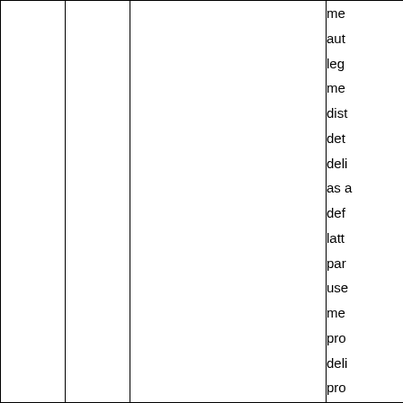|  |  |  | me |
|  |  |  | aut |
|  |  |  | leg |
|  |  |  | me |
|  |  |  | dist |
|  |  |  | det |
|  |  |  | deli |
|  |  |  | as a |
|  |  |  | def |
|  |  |  | latt |
|  |  |  | par |
|  |  |  | use |
|  |  |  | me |
|  |  |  | pro |
|  |  |  | deli |
|  |  |  | pro |